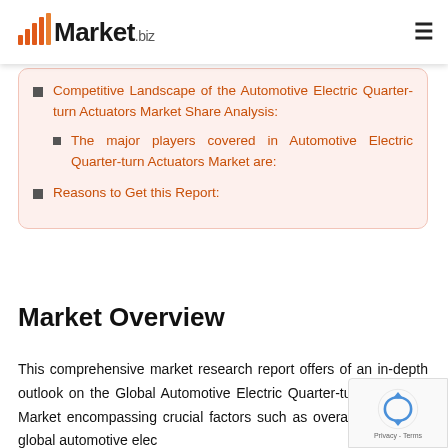Market.biz
Competitive Landscape of the Automotive Electric Quarter-turn Actuators Market Share Analysis:
The major players covered in Automotive Electric Quarter-turn Actuators Market are:
Reasons to Get this Report:
Market Overview
This comprehensive market research report offers of an in-depth outlook on the Global Automotive Electric Quarter-turn Actuators Market encompassing crucial factors such as overall size of the global automotive electric